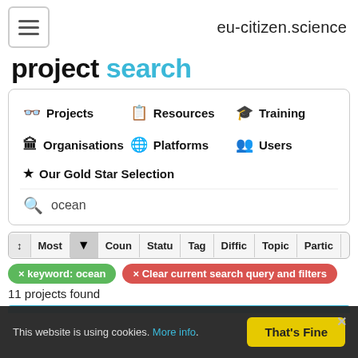eu-citizen.science
project search
Projects
Resources
Training
Organisations
Platforms
Users
Our Gold Star Selection
ocean
Most  Coun  Statu  Tag  Diffic  Topic  Partic
× keyword: ocean
× Clear current search query and filters
11 projects found
This website is using cookies. More info.
That's Fine